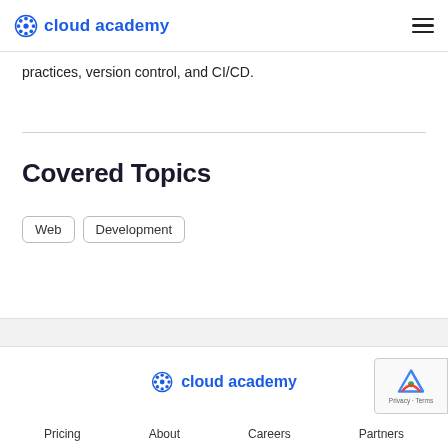cloud academy
practices, version control, and CI/CD.
Covered Topics
Web
Development
cloud academy  Pricing  About  Careers  Partners